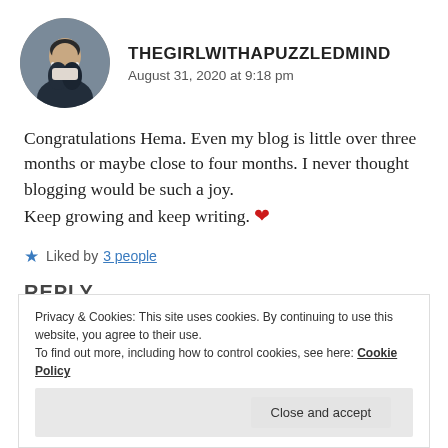THEGIRLWITHAPUZZLEDMIND — August 31, 2020 at 9:18 pm
Congratulations Hema. Even my blog is little over three months or maybe close to four months. I never thought blogging would be such a joy. Keep growing and keep writing. ❤
★ Liked by 3 people
REPLY
Privacy & Cookies: This site uses cookies. By continuing to use this website, you agree to their use. To find out more, including how to control cookies, see here: Cookie Policy